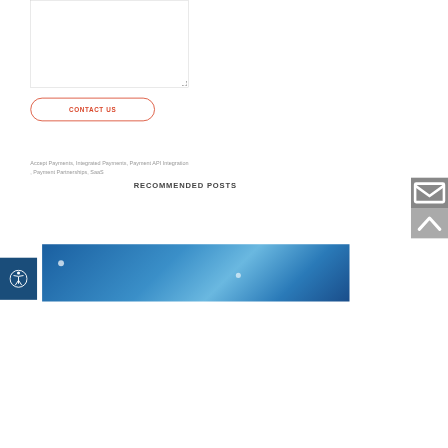[Figure (screenshot): Empty textarea input box with resize handle at bottom right]
CONTACT US
Accept Payments, Integrated Payments, Payment API Integration, Payment Partnerships, SaaS
RECOMMENDED POSTS
[Figure (photo): Abstract blue technology background image with light streaks and glowing dots]